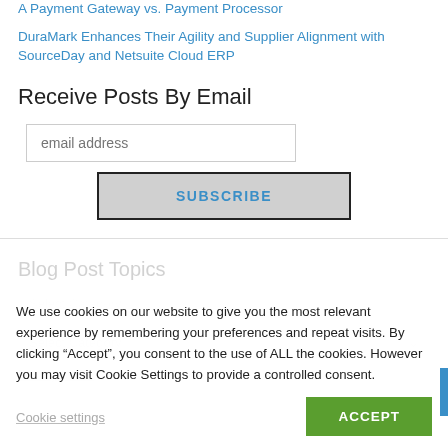A Payment Gateway vs. Payment Processor
DuraMark Enhances Their Agility and Supplier Alignment with SourceDay and Netsuite Cloud ERP
Receive Posts By Email
email address
SUBSCRIBE
We use cookies on our website to give you the most relevant experience by remembering your preferences and repeat visits. By clicking “Accept”, you consent to the use of ALL the cookies. However you may visit Cookie Settings to provide a controlled consent.
Cookie settings
ACCEPT